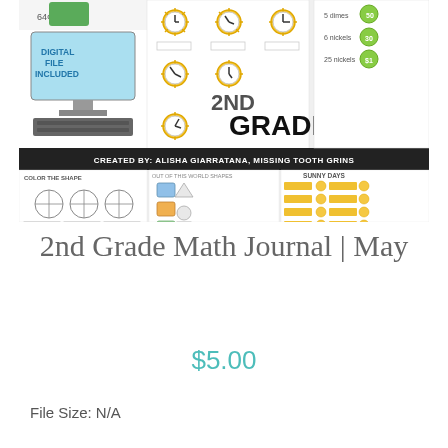[Figure (illustration): Product preview image collage showing 2nd Grade Math Journal May worksheets including digital file notice, clock activities, shapes, and sunny days counting activities. Black banner reads: CREATED BY: ALISHA GIARRATANA, MISSING TOOTH GRINS]
2nd Grade Math Journal | May
$5.00
File Size: N/A